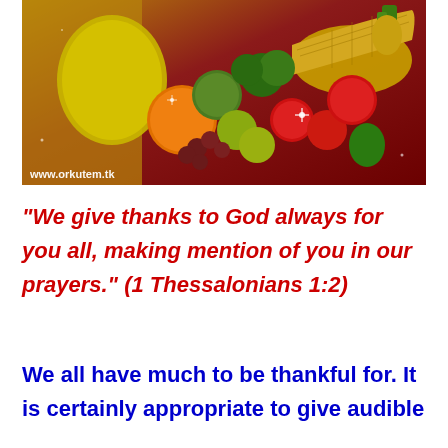[Figure (photo): A cornucopia/horn of plenty overflowing with various fruits and vegetables including apples, pears, grapes, broccoli, oranges, and other produce on a warm golden-red background. A watermark reads www.orkutem.tk in the lower left corner.]
“We give thanks to God always for you all, making mention of you in our prayers.” (1 Thessalonians 1:2)
We all have much to be thankful for. It is certainly appropriate to give audible